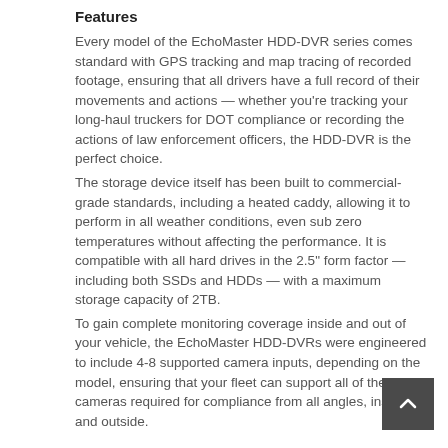Features
Every model of the EchoMaster HDD-DVR series comes standard with GPS tracking and map tracing of recorded footage, ensuring that all drivers have a full record of their movements and actions — whether you're tracking your long-haul truckers for DOT compliance or recording the actions of law enforcement officers, the HDD-DVR is the perfect choice. The storage device itself has been built to commercial-grade standards, including a heated caddy, allowing it to perform in all weather conditions, even sub zero temperatures without affecting the performance. It is compatible with all hard drives in the 2.5" form factor — including both SSDs and HDDs — with a maximum storage capacity of 2TB. To gain complete monitoring coverage inside and out of your vehicle, the EchoMaster HDD-DVRs were engineered to include 4-8 supported camera inputs, depending on the model, ensuring that your fleet can support all of the cameras required for compliance from all angles, inside and outside.